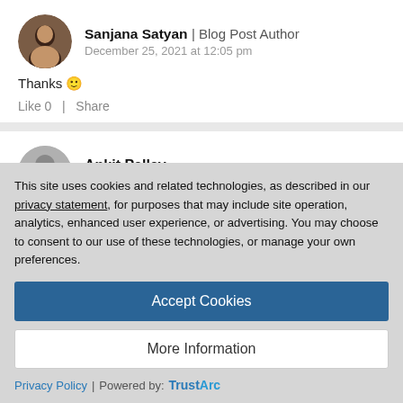Sanjana Satyan | Blog Post Author
December 25, 2021 at 12:05 pm
Thanks 🙂
Like 0  |  Share
Ankit Pallav
April 14, 2022 at 9:17 am
This site uses cookies and related technologies, as described in our privacy statement, for purposes that may include site operation, analytics, enhanced user experience, or advertising. You may choose to consent to our use of these technologies, or manage your own preferences.
Accept Cookies
More Information
Privacy Policy | Powered by: TrustArc